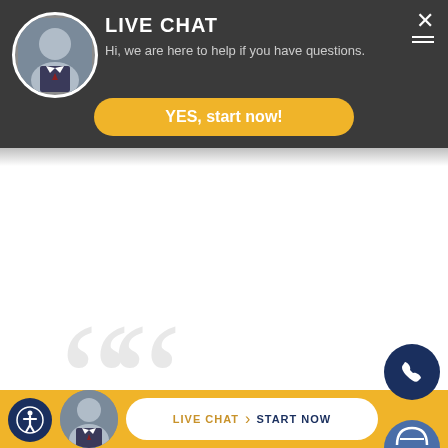[Figure (screenshot): Live chat popup bar with attorney photo avatar, 'LIVE CHAT' heading, subtitle text, and yellow 'YES, start now!' button on dark gray background]
REAL
Client Testimonials
This firm was able to
[Figure (screenshot): Bottom navigation bar with accessibility icon, attorney avatar, live chat pill button, and phone icon on yellow background]